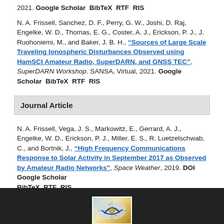2021. Google Scholar BibTeX RTF RIS
N. A. Frissell, Sanchez, D. F., Perry, G. W., Joshi, D. Raj, Engelke, W. D., Thomas, E. G., Coster, A. J., Erickson, P. J., J. Ruohoniemi, M., and Baker, J. B. H., “Sources of Large Scale Traveling Ionospheric Disturbances Observed using HamSCI Amateur Radio, SuperDARN, and GNSS TEC”, SuperDARN Workshop. SANSA, Virtual, 2021. Google Scholar BibTeX RTF RIS
Journal Article
N. A. Frissell, Vega, J. S., Markowitz, E., Gerrard, A. J., Engelke, W. D., Erickson, P. J., Miller, E. S., R. Luetzelschwab, C., and Bortnik, J., “High Frequency Communications Response to Solar Activity in September 2017 as Observed by Amateur Radio Networks”, Space Weather, 2019. DOI Google Scholar BibTeX RTF RIS